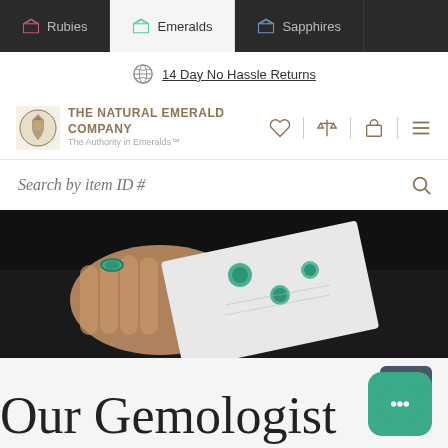Rubies | Emeralds | Sapphires
14 Day No Hassle Returns
[Figure (logo): The Natural Emerald Company logo with crest and tagline 'The Authority in Emeralds']
Search by item ID #
[Figure (photo): Close-up of a hand wearing an emerald ring, holding a card/paper with emerald gemstones arranged on it, dark background]
Our Gemologist